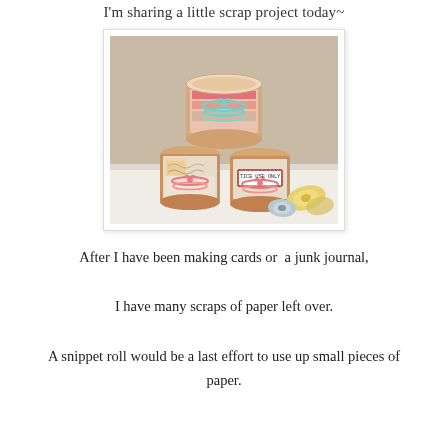I'm sharing a little scrap project today~
[Figure (photo): Three decorative spools/rolls wrapped with scrap paper and tied with twine (pink and teal), with a small roll of yellow twine on the right, arranged on a white surface against a beige wall.]
After I have been making cards or  a junk journal,

I have many scraps of paper left over.

A snippet roll would be a last effort to use up small pieces of paper.